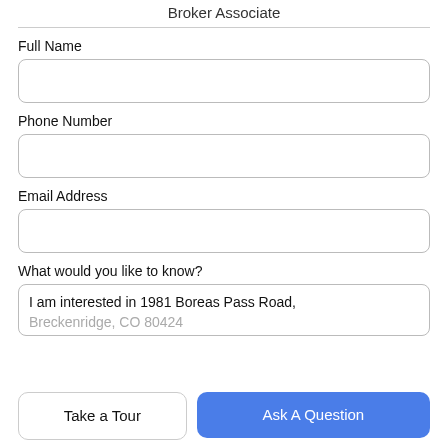Broker Associate
Full Name
Phone Number
Email Address
What would you like to know?
I am interested in 1981 Boreas Pass Road, Breckenridge, CO 80424
Take a Tour
Ask A Question